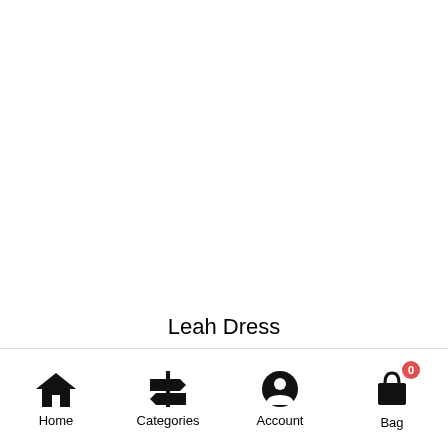Leah Dress
Home | Categories | Account | Bag (0)